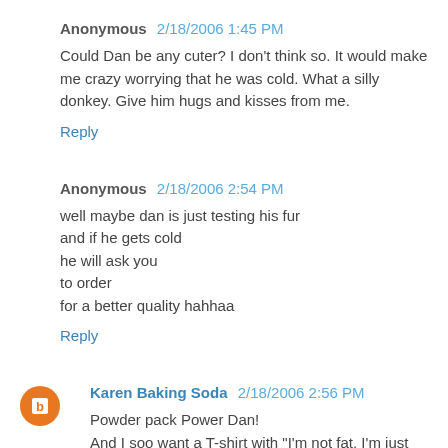Anonymous 2/18/2006 1:45 PM
Could Dan be any cuter? I don't think so. It would make me crazy worrying that he was cold. What a silly donkey. Give him hugs and kisses from me.
Reply
Anonymous 2/18/2006 2:54 PM
well maybe dan is just testing his fur
and if he gets cold
he will ask you
to order
for a better quality hahhaa
Reply
Karen Baking Soda 2/18/2006 2:56 PM
Powder pack Power Dan!
And I soo want a T-shirt with "I'm not fat, I'm just fluffy"